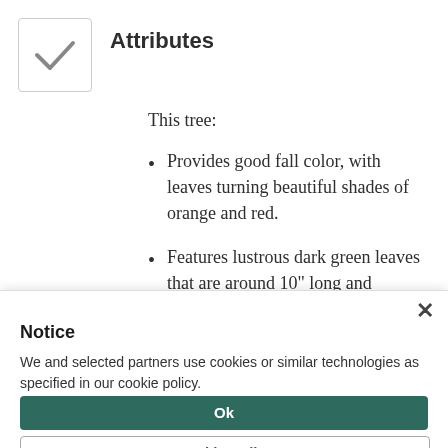Attributes
This tree:
Provides good fall color, with leaves turning beautiful shades of orange and red.
Features lustrous dark green leaves that are around 10" long and compound, commonly
Notice
We and selected partners use cookies or similar technologies as specified in our cookie policy.
Ok
Cookie Policy